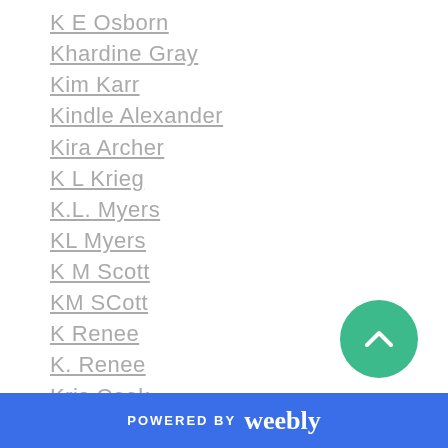K E Osborn
Khardine Gray
Kim Karr
Kindle Alexander
Kira Archer
K L Krieg
K.L. Myers
KL Myers
K M Scott
KM SCott
K Renee
K. Renee
Kris Cook
Kris Rafferty
K Webster
Kylie Scott
Kym Grosso
POWERED BY weebly